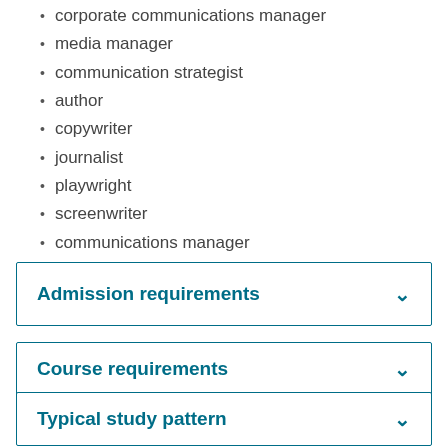corporate communications manager
media manager
communication strategist
author
copywriter
journalist
playwright
screenwriter
communications manager
publisher
editor.
Admission requirements
Course requirements
Typical study pattern